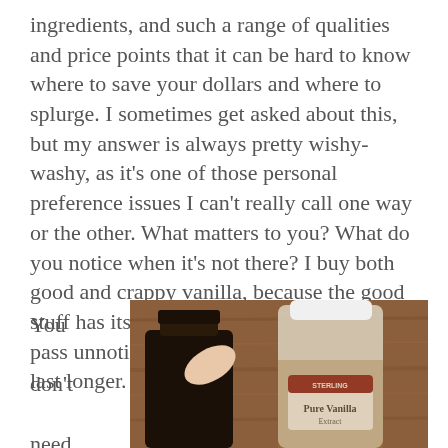ingredients, and such a range of qualities and price points that it can be hard to know where to save your dollars and where to splurge. I sometimes get asked about this, but my answer is always pretty wishy-washy, as it's one of those personal preference issues I can't really call one way or the other. What matters to you? What do you notice when it's not there? I buy both good and crappy vanilla, because the good stuff has its place but the crappy stuff can pass unnoticed, which makes the good stuff last longer.
You don't need fancy ingredients to
[Figure (photo): Two vanilla extract bottles on a wooden surface — a dark glass bottle being held and a clear bottle labeled 'Pure Vanilla Extract']